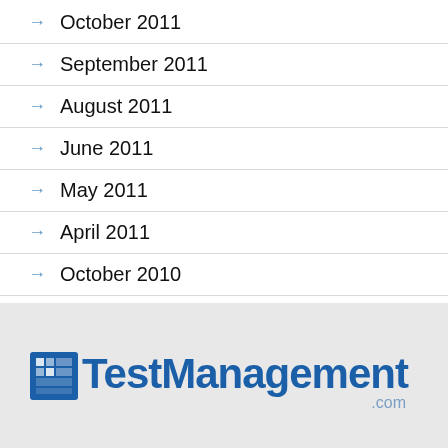October 2011
September 2011
August 2011
June 2011
May 2011
April 2011
October 2010
September 2010
[Figure (logo): TestManagement.com logo — blue box with pixel icon, bold blue text reading Test Management, and .com in lighter blue below]